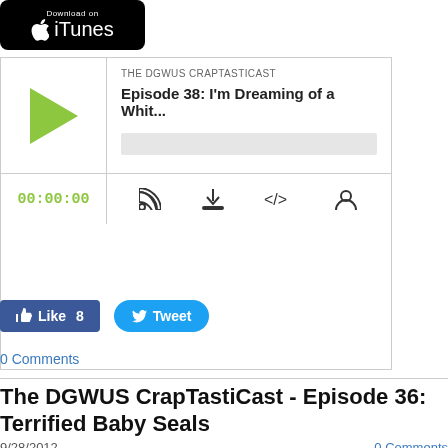[Figure (logo): Download on iTunes black badge with Apple logo]
[Figure (screenshot): Audio podcast player widget showing 'THE DGWUS CRAPTASTICAST' Episode 38: I'm Dreaming of a Whit... with play button, time 00:00:00, and controls]
[Figure (screenshot): Facebook Like button showing 8 likes and Twitter Tweet button]
0 Comments
The DGWUS CrapTastiCast - Episode 36: Terrified Baby Seals
9/28/2012
0 Comments
[Figure (screenshot): Bottom dark/black image bar (partial)]